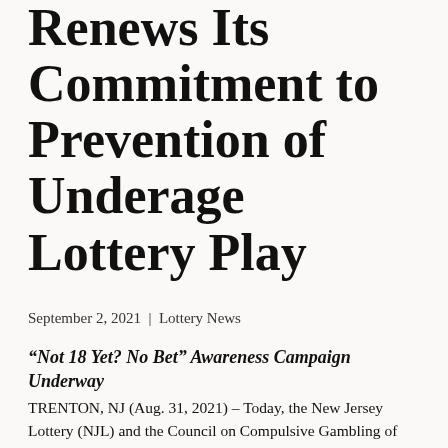Renews Its Commitment to Prevention of Underage Lottery Play
September 2, 2021 | Lottery News
“Not 18 Yet? No Bet” Awareness Campaign Underway
TRENTON, NJ (Aug. 31, 2021) – Today, the New Jersey Lottery (NJL) and the Council on Compulsive Gambling of New Jersey, Inc. (CCGNJ) launched the Lottery’s annual “Not 18 Yet? No Bet” awareness campaign, which reminds residents and retailers that New Jersey law prohibits the sale of lottery tickets by or to anyone under the age of 18. NJL Executive Director James Carey and CCGNJ Acting Executive Director Felicia